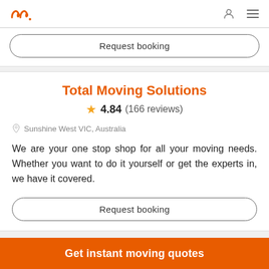Logo and navigation icons
Request booking
Total Moving Solutions
★ 4.84 (166 reviews)
Sunshine West VIC, Australia
We are your one stop shop for all your moving needs. Whether you want to do it yourself or get the experts in, we have it covered.
Request booking
Get instant moving quotes